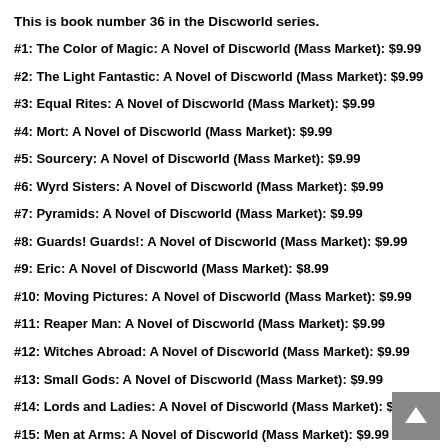This is book number 36 in the Discworld series.
#1: The Color of Magic: A Novel of Discworld (Mass Market): $9.99
#2: The Light Fantastic: A Novel of Discworld (Mass Market): $9.99
#3: Equal Rites: A Novel of Discworld (Mass Market): $9.99
#4: Mort: A Novel of Discworld (Mass Market): $9.99
#5: Sourcery: A Novel of Discworld (Mass Market): $9.99
#6: Wyrd Sisters: A Novel of Discworld (Mass Market): $9.99
#7: Pyramids: A Novel of Discworld (Mass Market): $9.99
#8: Guards! Guards!: A Novel of Discworld (Mass Market): $9.99
#9: Eric: A Novel of Discworld (Mass Market): $8.99
#10: Moving Pictures: A Novel of Discworld (Mass Market): $9.99
#11: Reaper Man: A Novel of Discworld (Mass Market): $9.99
#12: Witches Abroad: A Novel of Discworld (Mass Market): $9.99
#13: Small Gods: A Novel of Discworld (Mass Market): $9.99
#14: Lords and Ladies: A Novel of Discworld (Mass Market): $9.99
#15: Men at Arms: A Novel of Discworld (Mass Market): $9.99